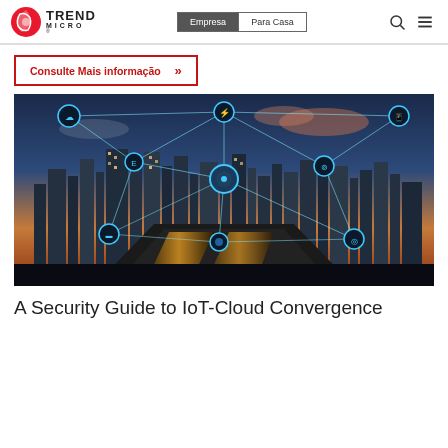Trend Micro — Empresa | Para Casa
Consulte Mais informação »
[Figure (illustration): Smart city IoT network visualization: aerial view of a glowing city at dusk with highway interchanges, overlaid with a connected network of IoT device icons (cloud, wifi, mobile, etc.) linked by glowing white lines.]
A Security Guide to IoT-Cloud Convergence